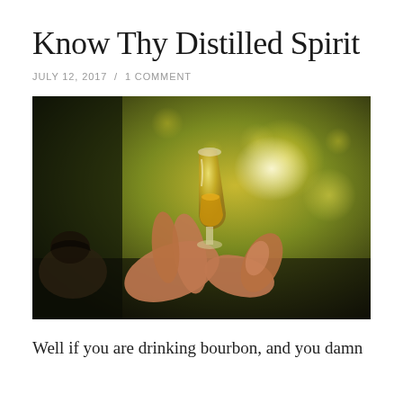Know Thy Distilled Spirit
JULY 12, 2017  /  1 COMMENT
[Figure (photo): Close-up photo of two hands holding up a small tulip-shaped whisky glass filled with golden amber liquid, against a dark bokeh background with warm yellow/green out-of-focus lights. A blurred figure wearing a cap is visible in the lower left.]
Well if you are drinking bourbon, and you damn